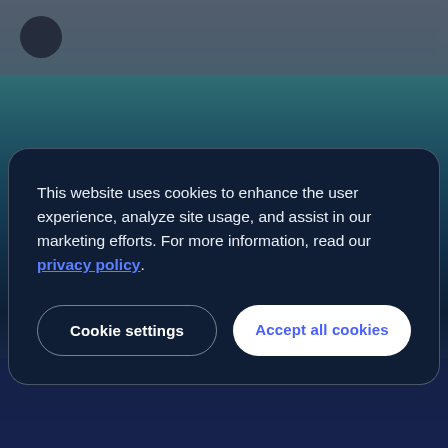[Figure (screenshot): Blurred website background with dark teal/navy gradient, showing a blurred navigation bar at top and blurred content at bottom. A cookie consent modal dialog is overlaid in the center-bottom area.]
This website uses cookies to enhance the user experience, analyze site usage, and assist in our marketing efforts. For more information, read our privacy policy.
Cookie settings
Accept all cookies